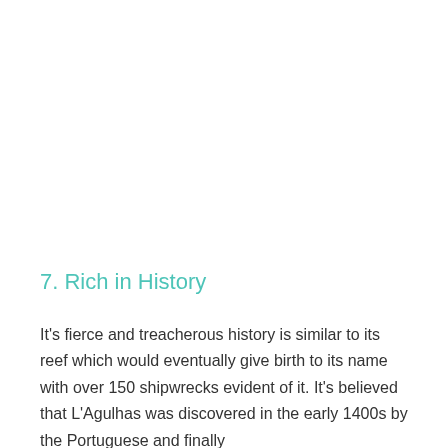7.  Rich in History
It's fierce and treacherous history is similar to its reef which would eventually give birth to its name with over 150 shipwrecks evident of it. It's believed that L'Agulhas was discovered in the early 1400s by the Portuguese and finally